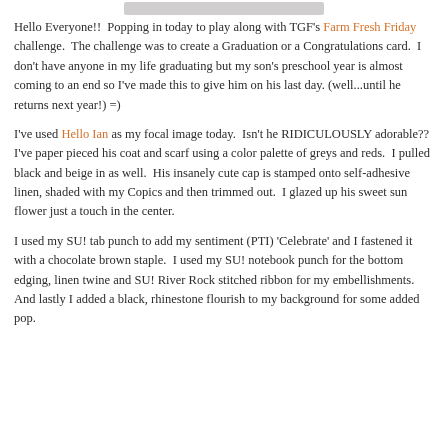[Figure (other): Gray horizontal bar image at the top of the page]
Hello Everyone!!  Popping in today to play along with TGF's Farm Fresh Friday challenge.  The challenge was to create a Graduation or a Congratulations card.  I don't have anyone in my life graduating but my son's preschool year is almost coming to an end so I've made this to give him on his last day. (well...until he returns next year!) =)
I've used Hello Ian as my focal image today.  Isn't he RIDICULOUSLY adorable??  I've paper pieced his coat and scarf using a color palette of greys and reds.  I pulled black and beige in as well.  His insanely cute cap is stamped onto self-adhesive linen, shaded with my Copics and then trimmed out.  I glazed up his sweet sun flower just a touch in the center.
I used my SU! tab punch to add my sentiment (PTI) 'Celebrate' and I fastened it with a chocolate brown staple.  I used my SU! notebook punch for the bottom edging, linen twine and SU! River Rock stitched ribbon for my embellishments.  And lastly I added a black, rhinestone flourish to my background for some added pop.